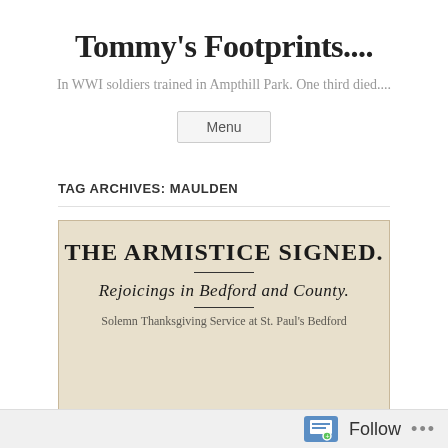Tommy's Footprints....
In WWI soldiers trained in Ampthill Park. One third died....
Menu
TAG ARCHIVES: MAULDEN
[Figure (photo): Newspaper clipping image showing headline 'THE ARMISTICE SIGNED.' with subheading 'Rejoicings in Bedford and County.' and partial text 'Solemn Thanksgiving Service at St. Paul's Bedford']
Follow ...